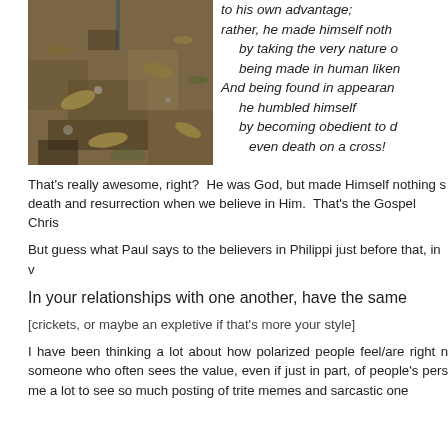[Figure (photo): Outdoor ground-level photo showing dry dirt, leaves, and debris on the ground with a stick or tool visible at the top center.]
to his own advantage;
rather, he made himself noth
by taking the very nature o
being made in human liken
And being found in appearan
he humbled himself
by becoming obedient to d
even death on a cross!
That's really awesome, right?  He was God, but made Himself nothing s death and resurrection when we believe in Him.  That's the Gospel Chris
But guess what Paul says to the believers in Philippi just before that, in v
In your relationships with one another, have the same
[crickets, or maybe an expletive if that's more your style]
I have been thinking a lot about how polarized people feel/are right n someone who often sees the value, even if just in part, of people's pers me a lot to see so much posting of trite memes and sarcastic one